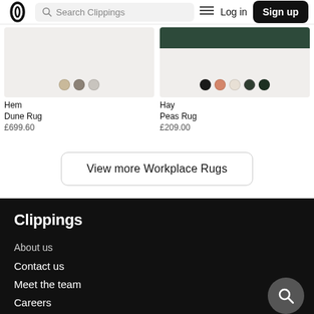Search Clippings | Log in | Sign up
[Figure (photo): Hem Dune Rug product card with color swatches (beige, grey, light grey)]
Hem
Dune Rug
£699.60
[Figure (photo): Hay Peas Rug product card with color swatches (black, coral, cream, dark olive, dark green)]
Hay
Peas Rug
£209.00
View more Workplace Rugs
Clippings
About us
Contact us
Meet the team
Careers
Sustainability